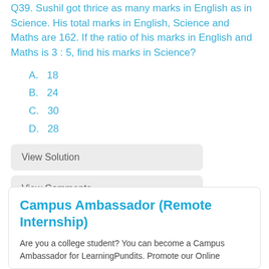Q39. Sushil got thrice as many marks in English as in Science. His total marks in English, Science and Maths are 162. If the ratio of his marks in English and Maths is 3 : 5, find his marks in Science?
A.   18
B.   24
C.   30
D.   28
View Solution
View Comments
Campus Ambassador (Remote Internship)
Are you a college student? You can become a Campus Ambassador for LearningPundits. Promote our Online